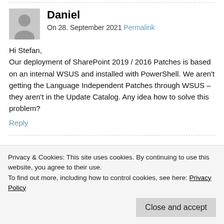Daniel
On 28. September 2021 Permalink
Hi Stefan,
Our deployment of SharePoint 2019 / 2016 Patches is based on an internal WSUS and installed with PowerShell. We aren't getting the Language Independent Patches through WSUS – they aren't in the Update Catalog. Any idea how to solve this problem?
Reply
Stefan Goßner
Privacy & Cookies: This site uses cookies. By continuing to use this website, you agree to their use.
To find out more, including how to control cookies, see here: Privacy Policy
Close and accept
The recent language dependent fixes are not